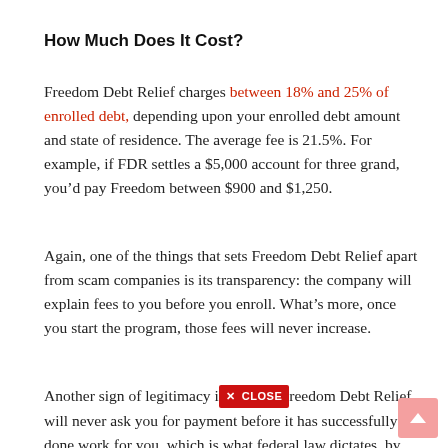How Much Does It Cost?
Freedom Debt Relief charges between 18% and 25% of enrolled debt, depending upon your enrolled debt amount and state of residence. The average fee is 21.5%. For example, if FDR settles a $5,000 account for three grand, you’d pay Freedom between $900 and $1,250.
Again, one of the things that sets Freedom Debt Relief apart from scam companies is its transparency: the company will explain fees to you before you enroll. What’s more, once you start the program, those fees will never increase.
Another sign of legitimacy is Freedom Debt Relief will never ask you for payment before it has successfully done work for you, which is what federal law dictates, by the way.